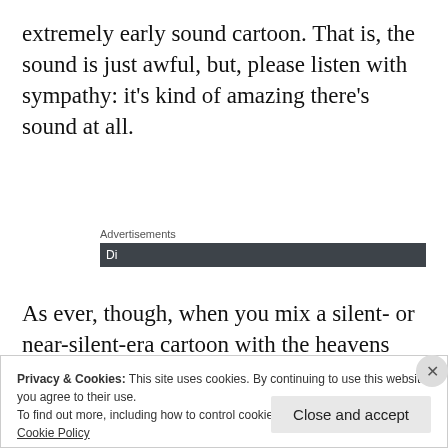extremely early sound cartoon. That is, the sound is just awful, but, please listen with sympathy: it’s kind of amazing there’s sound at all.
Advertisements
As ever, though, when you mix a silent- or near-silent-era cartoon with the heavens
Privacy & Cookies: This site uses cookies. By continuing to use this website, you agree to their use.
To find out more, including how to control cookies, see here:
Cookie Policy
Close and accept